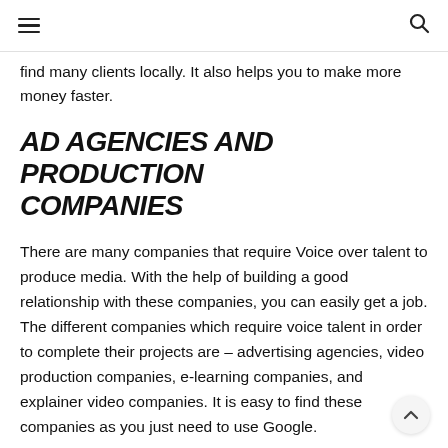≡  🔍
find many clients locally. It also helps you to make more money faster.
ad agencies and production companies
There are many companies that require Voice over talent to produce media. With the help of building a good relationship with these companies, you can easily get a job. The different companies which require voice talent in order to complete their projects are – advertising agencies, video production companies, e-learning companies, and explainer video companies. It is easy to find these companies as you just need to use Google.